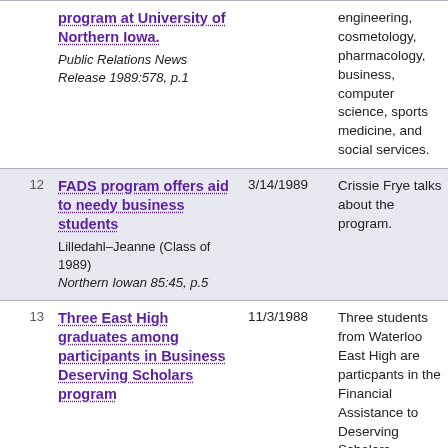| # | Title / Source | Date | Description |
| --- | --- | --- | --- |
|  | program at University of Northern Iowa.
Public Relations News Release 1989:578, p.1 |  | engineering, cosmetology, pharmacology, business, computer science, sports medicine, and social services. |
| 12 | FADS program offers aid to needy business students
Lilledahl–Jeanne (Class of 1989)
Northern Iowan 85:45, p.5 | 3/14/1989 | Crissie Frye talks about the program. |
| 13 | Three East High graduates among participants in Business Deserving Scholars program | 11/3/1988 | Three students from Waterloo East High are particpants in the Financial Assistance to Deserving Scholars program |